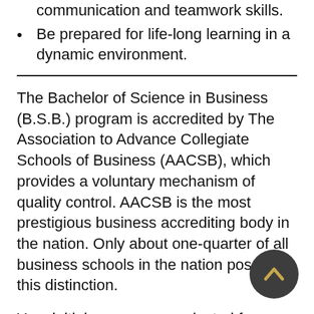communication and teamwork skills.
Be prepared for life-long learning in a dynamic environment.
The Bachelor of Science in Business (B.S.B.) program is accredited by The Association to Advance Collegiate Schools of Business (AACSB), which provides a voluntary mechanism of quality control. AACSB is the most prestigious business accrediting body in the nation. Only about one-quarter of all business schools in the nation possess this distinction.
Your initial courses are selected from introductory-level general education, business, and economics subjects. When you have qualified for admission to the B.S.B. program, additional opportunities are provided for in-depth studies in a variety of advanced business, management, and analytical subjects. These advanced